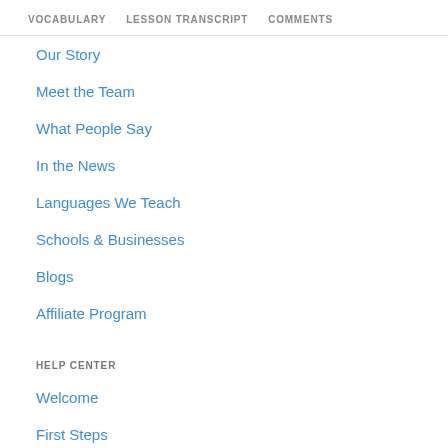VOCABULARY  LESSON TRANSCRIPT  COMMENTS
Our Story
Meet the Team
What People Say
In the News
Languages We Teach
Schools & Businesses
Blogs
Affiliate Program
HELP CENTER
Welcome
First Steps
How to Save Lessons
Subscription & Pricing